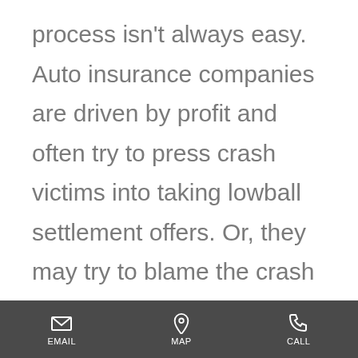process isn't always easy. Auto insurance companies are driven by profit and often try to press crash victims into taking lowball settlement offers. Or, they may try to blame the crash on you and offer you nothing.

That's why you need an experienced car accident attorney in your corner to
EMAIL   MAP   CALL